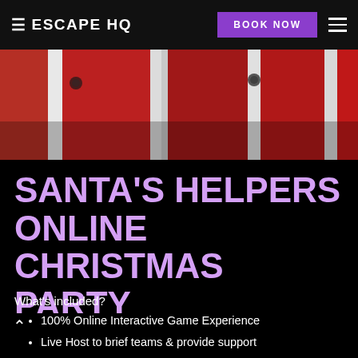ESCAPE HQ | BOOK NOW
[Figure (photo): Close-up photo of person(s) wearing red and white Santa Claus costumes, showing the torso/chest area with white fur trim on red velvet fabric]
SANTA'S HELPERS ONLINE CHRISTMAS PARTY
What's included?
100% Online Interactive Game Experience
Live Host to brief teams & provide support